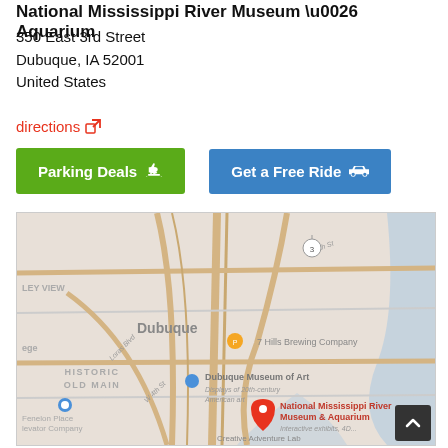National Mississippi River Museum & Aquarium
350 East 3rd Street
Dubuque, IA 52001
United States
directions
Parking Deals
Get a Free Ride
[Figure (map): Google Maps showing Dubuque, IA area with markers for National Mississippi River Museum & Aquarium, Dubuque Museum of Art, 7 Hills Brewing Company, Creative Adventure Lab, and Fenelon Place Elevator Company. Shows HISTORIC OLD MAIN district and street layout.]